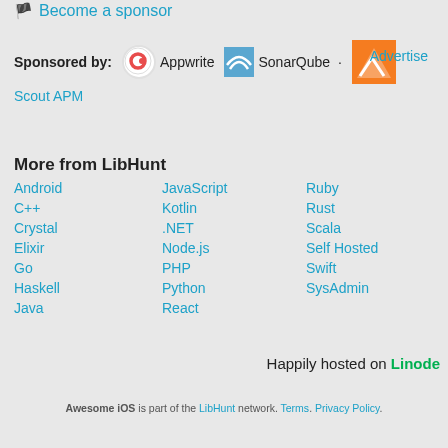🏳 Become a sponsor
Sponsored by: Appwrite · SonarQube · Scout APM  Advertise
More from LibHunt
Android
JavaScript
Ruby
C++
Kotlin
Rust
Crystal
.NET
Scala
Elixir
Node.js
Self Hosted
Go
PHP
Swift
Haskell
Python
SysAdmin
Java
React
Happily hosted on Linode
Awesome iOS is part of the LibHunt network. Terms. Privacy Policy.